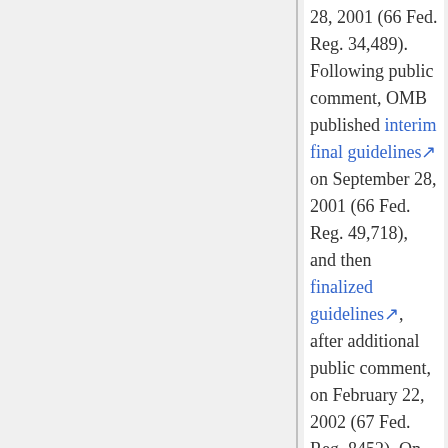28, 2001 (66 Fed. Reg. 34,489). Following public comment, OMB published interim final guidelines on September 28, 2001 (66 Fed. Reg. 49,718), and then finalized guidelines, after additional public comment, on February 22, 2002 (67 Fed. Reg. 8452). On October 1, 2002, the OMB guidelines went